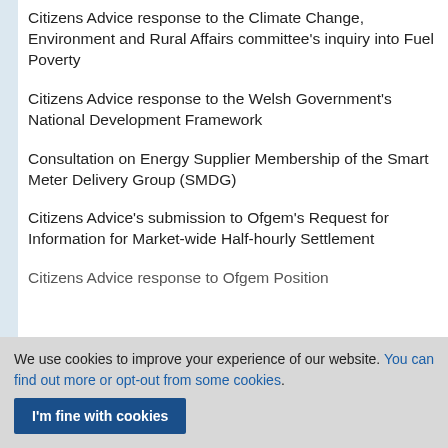Citizens Advice response to the Climate Change, Environment and Rural Affairs committee's inquiry into Fuel Poverty
Citizens Advice response to the Welsh Government's National Development Framework
Consultation on Energy Supplier Membership of the Smart Meter Delivery Group (SMDG)
Citizens Advice's submission to Ofgem's Request for Information for Market-wide Half-hourly Settlement
Citizens Advice response to Ofgem Position
We use cookies to improve your experience of our website. You can find out more or opt-out from some cookies.
I'm fine with cookies